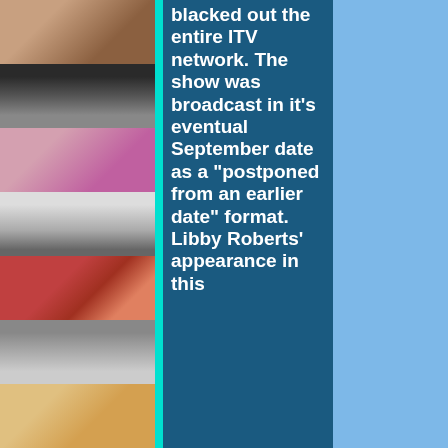[Figure (photo): Vertical strip of 7 celebrity/person photos on the left side of the page]
blacked out the entire ITV network. The show was broadcast in it's eventual September date as a "postponed from an earlier date" format. Libby Roberts' appearance in this